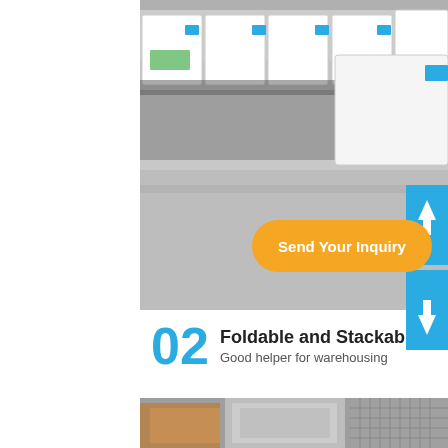[Figure (photo): Warehouse interior with white boxes/crates on pallets and a reflective concrete floor with yellow lines. An orange 'Send Your Inquiry' button overlays the bottom portion of the photo.]
02 Foldable and Stackable
Good helper for warehousing
[Figure (photo): Stacked foldable panels or crates in a storage area, showing the product in folded/stacked configuration.]